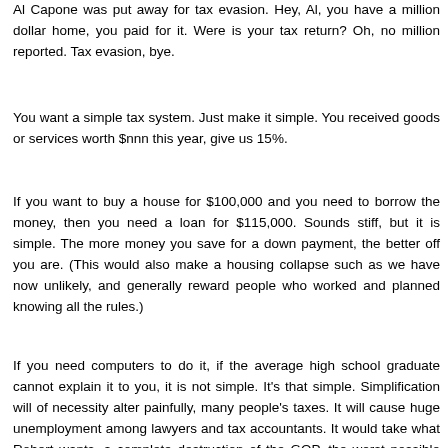Al Capone was put away for tax evasion. Hey, Al, you have a million dollar home, you paid for it. Were is your tax return? Oh, no million reported. Tax evasion, bye.
You want a simple tax system. Just make it simple. You received goods or services worth $nnn this year, give us 15%.
If you want to buy a house for $100,000 and you need to borrow the money, then you need a loan for $115,000. Sounds stiff, but it is simple. The more money you save for a down payment, the better off you are. (This would also make a housing collapse such as we have now unlikely, and generally reward people who worked and planned knowing all the rules.)
If you need computers to do it, if the average high school graduate cannot explain it to you, it is not simple. It's that simple. Simplification will of necessity alter painfully, many people's taxes. It will cause huge unemployment among lawyers and tax accountants. It would take what Robert wants, a complete destruction of the GOP, the worst possible outcome of BHO's presidency and a newly